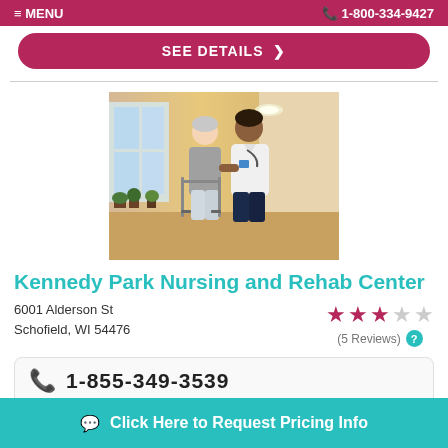MENU  1-800-334-9427
SEE DETAILS >
[Figure (photo): A nurse in white uniform assisting an elderly woman with a walker in a hallway with windows and potted plants]
Kennedy Park Nursing and Rehab Center
6001 Alderson St
Schofield, WI 54476
(5 Reviews)
1-855-349-3539
Click Here to Request Pricing Info